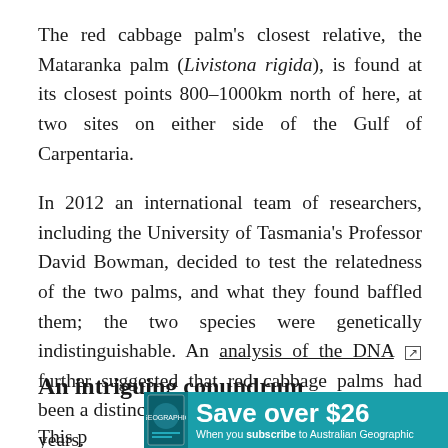The red cabbage palm's closest relative, the Mataranka palm (Livistona rigida), is found at its closest points 800–1000km north of here, at two sites on either side of the Gulf of Carpentaria.
In 2012 an international team of researchers, including the University of Tasmania's Professor David Bowman, decided to test the relatedness of the two palms, and what they found baffled them; the two species were genetically indistinguishable. An analysis of the DNA [link] further suggested that red cabbage palms had been a distinct population for just 15,000–30,000 years.
An intriguing conundrum
This p...
[Figure (other): Advertisement banner for Australian Geographic magazine subscription: teal background with book cover image and text 'Save over $26 When you subscribe to Australian Geographic']